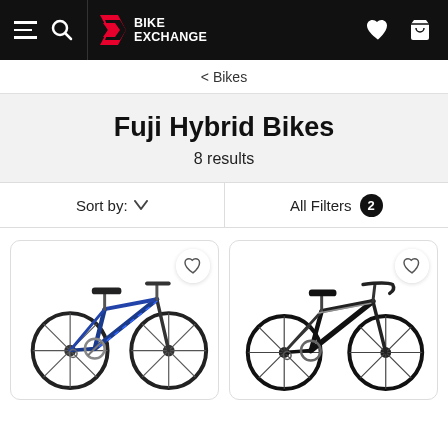[Figure (screenshot): BikeExchange website navigation bar with hamburger menu, search icon, BikeExchange logo, heart/wishlist icon, and shopping cart icon on black background]
< Bikes
Fuji Hybrid Bikes
8 results
Sort by:  ∨
All Filters  2
[Figure (photo): Blue Fuji hybrid bike product image with wishlist heart button, shown on white background inside a rounded card]
[Figure (photo): Black Fuji hybrid bike product image with wishlist heart button, shown on white background inside a rounded card]